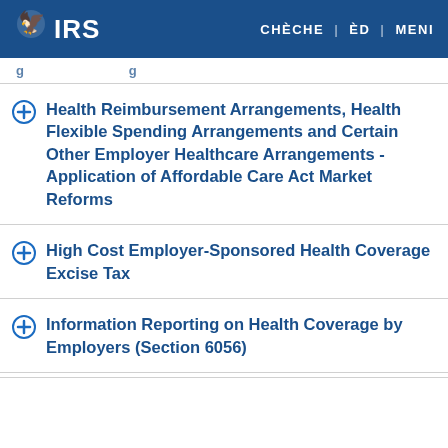IRS | CHÈCHE | ÈD | MENI
Health Reimbursement Arrangements, Health Flexible Spending Arrangements and Certain Other Employer Healthcare Arrangements - Application of Affordable Care Act Market Reforms
High Cost Employer-Sponsored Health Coverage Excise Tax
Information Reporting on Health Coverage by Employers (Section 6056)